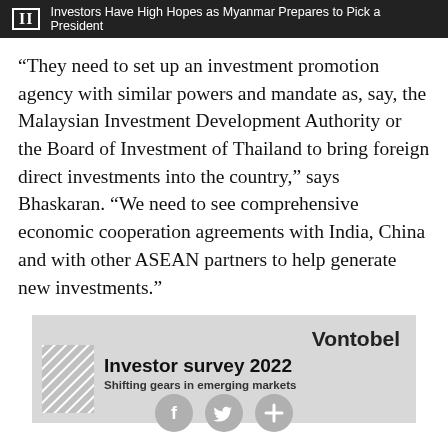II  Investors Have High Hopes as Myanmar Prepares to Pick a President
“They need to set up an investment promotion agency with similar powers and mandate as, say, the Malaysian Investment Development Authority or the Board of Investment of Thailand to bring foreign direct investments into the country,” says Bhaskaran. “We need to see comprehensive economic cooperation agreements with India, China and with other ASEAN partners to help generate new investments.”
[Figure (other): Vontobel advertisement banner with hatched pattern graphic, showing 'Vontobel', 'Investor survey 2022', 'Shifting gears in emerging markets']
[Figure (other): Social sharing icons row: Facebook (f), Twitter (bird), and Plus (+) buttons as grey circles at the bottom of the page]